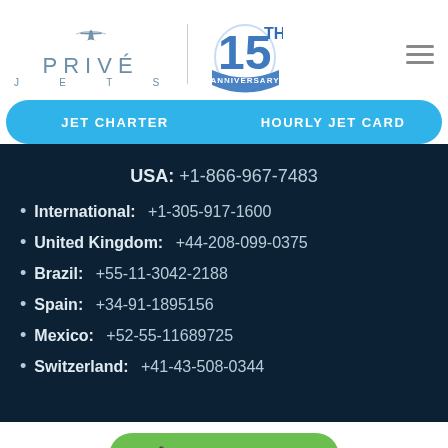[Figure (logo): Privé Jets logo with airplane icon above text, and 15th Anniversary badge beside it]
JET CHARTER
HOURLY JET CARD
USA: +1-866-967-7483
International: +1-305-917-1600
United Kingdom: +44-208-099-0375
Brazil: +55-11-3042-2188
Spain: +34-91-1895156
Mexico: +52-55-11689725
Switzerland: +41-43-508-0344
Call Us Now